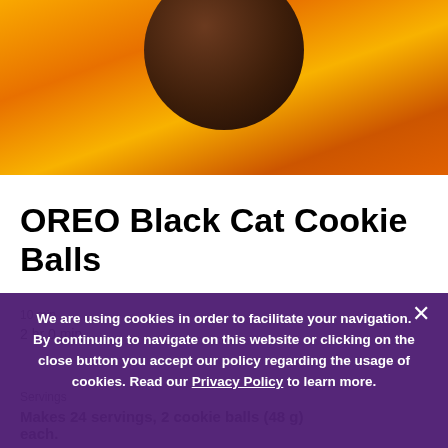[Figure (photo): Close-up of a chocolate-coated cookie ball on an orange/yellow background]
OREO Black Cat Cookie Balls
We are using cookies in order to facilitate your navigation. By continuing to navigate on this website or clicking on the close button you accept our policy regarding the usage of cookies. Read our Privacy Policy to learn more.
2 hr 0 min
Servings
Makes 24 servings, 2 cookie balls (48 g) each.